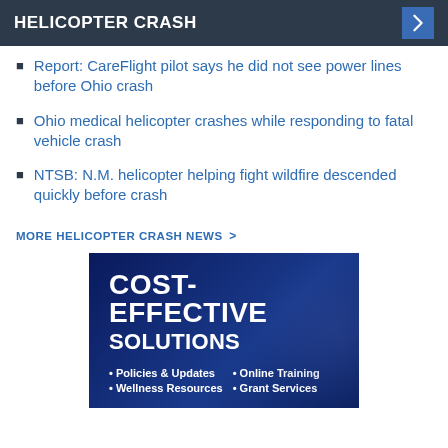HELICOPTER CRASH
Report: CareFlight pilot says he did not see power lines before Ohio crash
Ohio medical helicopter crashes while responding to fatal vehicle crash
NTSB: N.M. helicopter helping fight wildfire descended quickly before crash
MORE HELICOPTER CRASH NEWS >
[Figure (infographic): Advertisement banner with dark blue background showing 'COST-EFFECTIVE SOLUTIONS' with bullet points: Policies & Updates, Wellness Resources, Online Training, Grant Services]